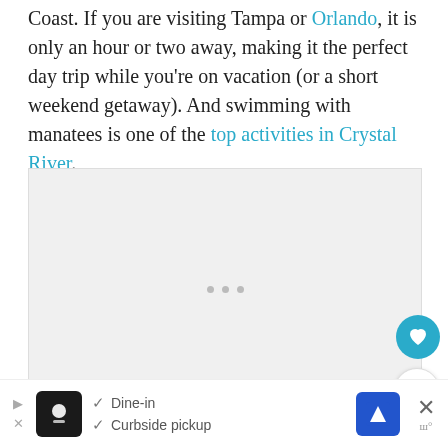Coast. If you are visiting Tampa or Orlando, it is only an hour or two away, making it the perfect day trip while you're on vacation (or a short weekend getaway). And swimming with manatees is one of the top activities in Crystal River.
[Figure (other): Ad placeholder box with three dots in the center]
[Figure (other): Floating action button with heart icon (teal circle)]
[Figure (other): Floating action button with share icon (white circle)]
[Figure (other): Bottom advertisement banner showing restaurant with Dine-in and Curbside pickup options]